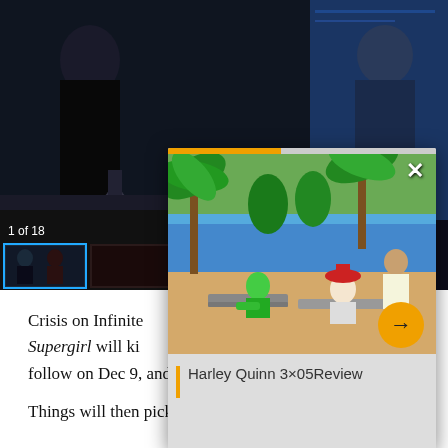[Figure (screenshot): Dark TV screenshot gallery showing two figures in a dark studio/news environment with a thumbnail strip at the bottom showing '1 of 18' counter, and an active blue-bordered thumbnail.]
[Figure (screenshot): Popup overlay card showing an animated scene from Harley Quinn with cartoon characters lounging on a beach with palm trees. Has an orange progress bar at top, X close button, orange arrow next button, and title 'Harley Quinn 3x05Review' at bottom.]
Crisis on Infinite... [text partially obscured by popup]
Supergirl will ki... [text partially obscured by popup]
follow on Dec 9, and The Flash will air on Dec. 10.
Things will then pick back up on Jan. 14 with Arrow, and